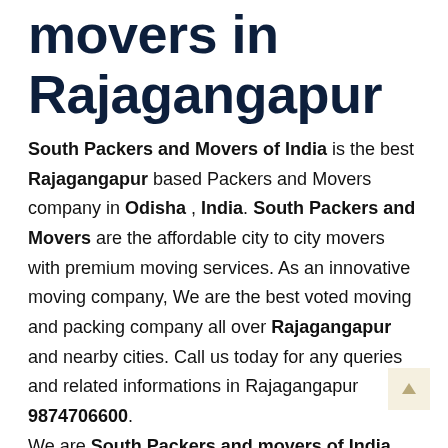movers in Rajagangapur
South Packers and Movers of India is the best Rajagangapur based Packers and Movers company in Odisha , India. South Packers and Movers are the affordable city to city movers with premium moving services. As an innovative moving company, We are the best voted moving and packing company all over Rajagangapur and nearby cities. Call us today for any queries and related informations in Rajagangapur 9874706600. We are South Packers and movers of India, located in Kolkata. We provide services in major cities of Kolkata, Howrah, Dumdum, Krishnanagar, Durgapur,